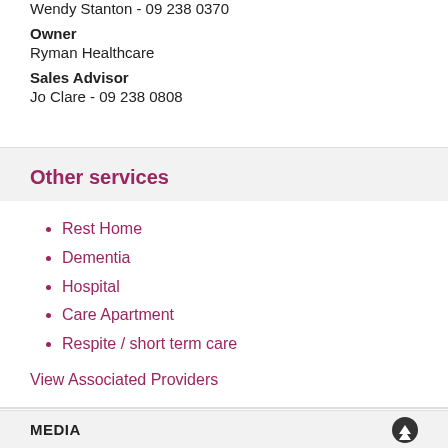Wendy Stanton - 09 238 0370
Owner
Ryman Healthcare
Sales Advisor
Jo Clare - 09 238 0808
Other services
Rest Home
Dementia
Hospital
Care Apartment
Respite / short term care
View Associated Providers
MEDIA